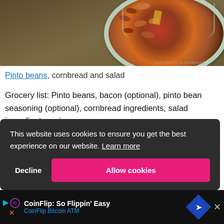[Figure (photo): A bowl of pinto beans with cornbread on a woven mat background]
Pinto beans, cornbread and salad
Grocery list: Pinto beans, bacon (optional), pinto bean seasoning (optional), cornbread ingredients, salad ingredients, onion
Hope you have a great week!
This website uses cookies to ensure you get the best experience on our website. Learn more
Decline | Allow cookies
CoinFlip: So Flippin' Easy CoinFlip Bitcoin ATM